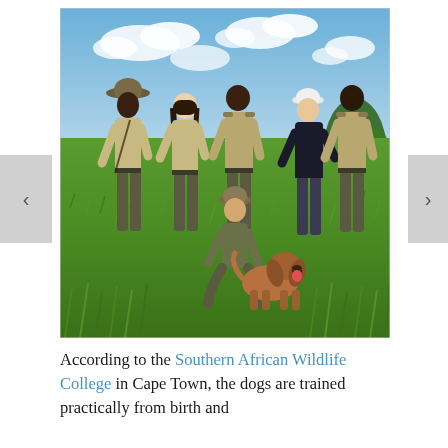[Figure (photo): Group photo of five people in khaki/military-style uniforms and one person in a dark shirt and white cap, standing in a green grassy field under a blue sky with clouds. One person is crouched in the front holding a brown dog (bloodhound). Trees are visible in the background.]
According to the Southern African Wildlife College in Cape Town, the dogs are trained practically from birth and